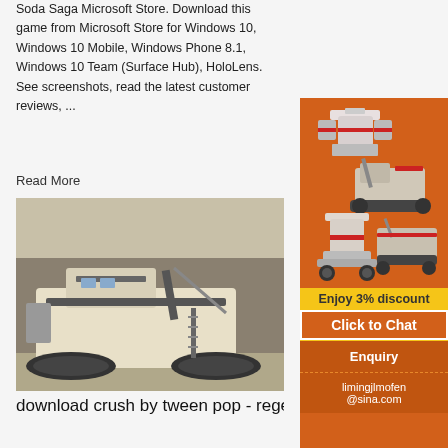Soda Saga Microsoft Store. Download this game from Microsoft Store for Windows 10, Windows 10 Mobile, Windows Phone 8.1, Windows 10 Team (Surface Hub), HoloLens. See screenshots, read the latest customer reviews, ...
Read More
[Figure (photo): Industrial mobile stone crusher/mining machine on a rocky terrain site]
download crush by tween pop - rege...
Crushing Equipment. Our corporation is a manufacturer and exporter of your crushers, stone crushing aggregate market for 20 years. Stone is definitely an perfect device for major and secondary crushing are extensively applied in hydroelectric, highway, mining, transportation, energy, metallurgical, construction, road creating, chemical and phosphatic
[Figure (infographic): Orange sidebar advertisement with mining/crushing equipment images, Enjoy 3% discount banner in yellow, Click to Chat button, Enquiry section, and limingjlmofen@sina.com contact]